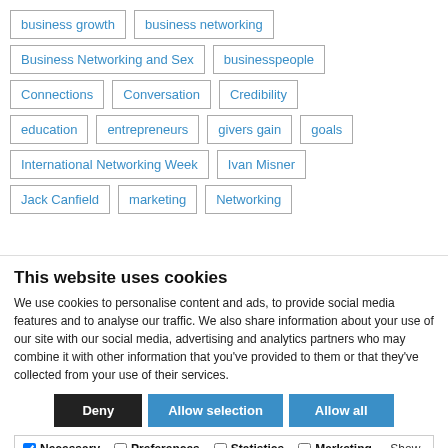business growth
business networking
Business Networking and Sex
businesspeople
Connections
Conversation
Credibility
education
entrepreneurs
givers gain
goals
International Networking Week
Ivan Misner
Jack Canfield
marketing
Networking
This website uses cookies
We use cookies to personalise content and ads, to provide social media features and to analyse our traffic. We also share information about your use of our site with our social media, advertising and analytics partners who may combine it with other information that you've provided to them or that they've collected from your use of their services.
Deny | Allow selection | Allow all
Necessary  Preferences  Statistics  Marketing  Show details